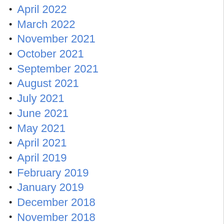April 2022
March 2022
November 2021
October 2021
September 2021
August 2021
July 2021
June 2021
May 2021
April 2021
April 2019
February 2019
January 2019
December 2018
November 2018
October 2018
September 2018
August 2018
July 2018